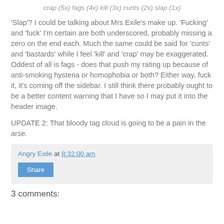crap (5x) fags (4x) kill (3x) cunts (2x) slap (1x)
'Slap'? I could be talking about Mrs Exile's make up. 'Fucking' and 'fuck' I'm certain are both underscored, probably missing a zero on the end each. Much the same could be said for 'cunts' and 'bastards' while I feel 'kill' and 'crap' may be exaggerated. Oddest of all is fags - does that push my rating up because of anti-smoking hysteria or homophobia or both? Either way, fuck it, it's coming off the sidebar. I still think there probably ought to be a better content warning that I have so I may put it into the header image.
UPDATE 2: That bloody tag cloud is going to be a pain in the arse.
Angry Exile at 8:32:00 am
Share
3 comments: